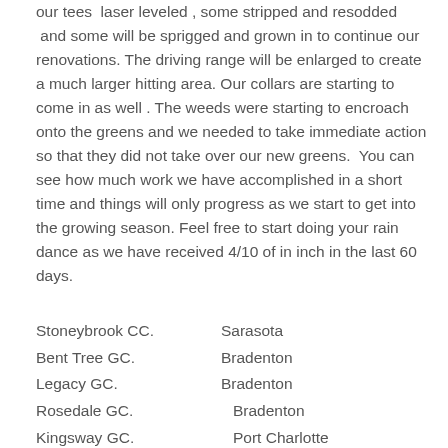our tees laser leveled , some stripped and resodded and some will be sprigged and grown in to continue our renovations. The driving range will be enlarged to create a much larger hitting area. Our collars are starting to come in as well . The weeds were starting to encroach onto the greens and we needed to take immediate action so that they did not take over our new greens. You can see how much work we have accomplished in a short time and things will only progress as we start to get into the growing season. Feel free to start doing your rain dance as we have received 4/10 of in inch in the last 60 days.
Stoneybrook CC.      Sarasota
Bent Tree GC.        Bradenton
Legacy GC.           Bradenton
Rosedale GC.         Bradenton
Kingsway GC.         Port Charlotte
Cypress Creek.       Ruskin